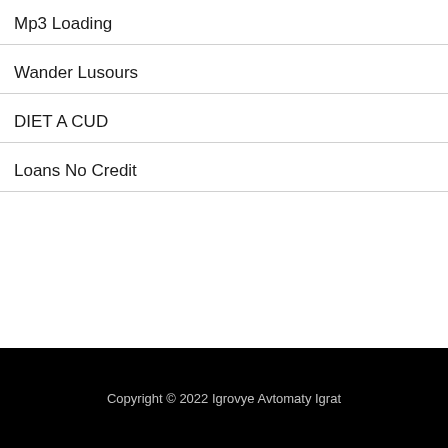Mp3 Loading
Wander Lusours
DIET A CUD
Loans No Credit
Copyright © 2022 Igrovye Avtomaty Igrat